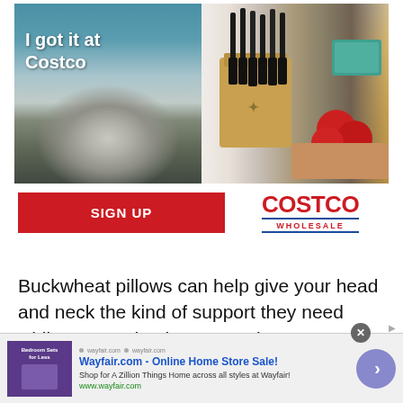[Figure (photo): Costco advertisement banner showing two product photos side by side: left image shows outdoor patio furniture (sectional sofa with coffee table) with text 'I got it at Costco', right image shows a knife block set with fresh tomatoes on a cutting board. Below the images is a red 'SIGN UP' button and the Costco Wholesale logo.]
Buckwheat pillows can help give your head and neck the kind of support they need while you are having some shut-eye.
[Figure (photo): Wayfair.com advertisement banner at bottom of page showing: small purple-toned bedroom furniture image on left, ad text 'Wayfair.com - Online Home Store Sale! Shop for A Zillion Things Home across all styles at Wayfair! www.wayfair.com' in center, blue circle arrow button on right. Close button (X) in grey circle at top right.]